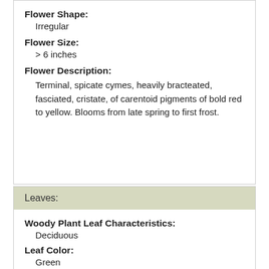Flower Shape:
Irregular
Flower Size:
> 6 inches
Flower Description:
Terminal, spicate cymes, heavily bracteated, fasciated, cristate, of carentoid pigments of bold red to yellow. Blooms from late spring to first frost.
Leaves:
Woody Plant Leaf Characteristics:
Deciduous
Leaf Color:
Green
Purple/Lavender